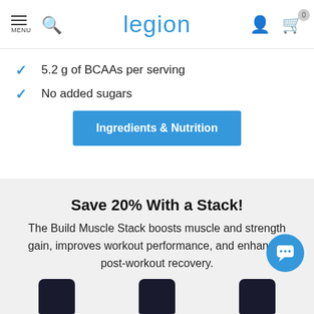MENU | Search | legion | User | Cart (0)
5.2 g of BCAAs per serving
No added sugars
Ingredients & Nutrition
Save 20% With a Stack!
The Build Muscle Stack boosts muscle and strength gain, improves workout performance, and enhances post-workout recovery.
[Figure (photo): Three dark supplement bottles partially visible at bottom of page]